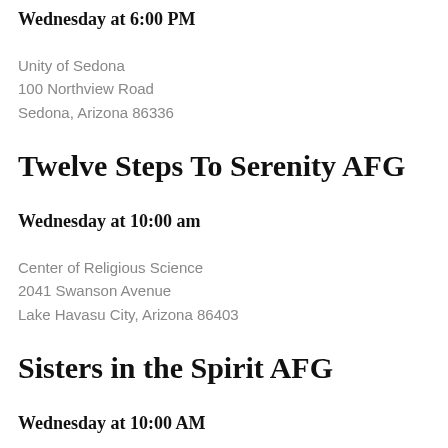Wednesday at 6:00 PM
Unity of Sedona
100 Northview Road
Sedona, Arizona 86336
Twelve Steps To Serenity AFG
Wednesday at 10:00 am
Center of Religious Science
2041 Swanson Avenue
Lake Havasu City, Arizona 86403
Sisters in the Spirit AFG
Wednesday at 10:00 AM